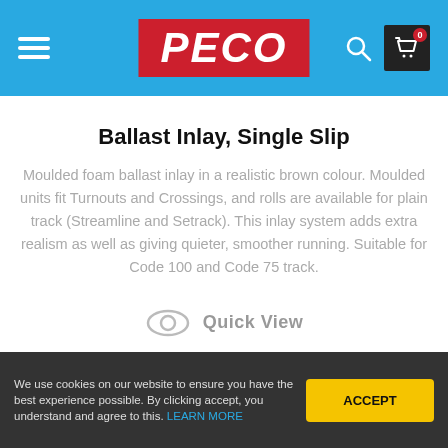PECO
Ballast Inlay, Single Slip
Moulded foam ballast inlay in a realistic brown colour. Moulded units fit Turnouts and Crossings, and rolls are available for plain track (Streamline and Setrack). This inlay system adds extra realism as well as giving quieter, smoother running. Suitable for Code 100 and Code 75 track.
Quick View
We use cookies on our website to ensure you have the best experience possible. By clicking accept, you understand and agree to this. LEARN MORE